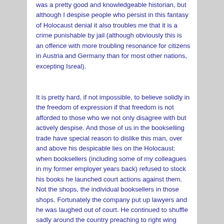was a pretty good and knowledgeable historian, but although I despise people who persist in this fantasy of Holocaust denial it also troubles me that it is a crime punishable by jail (although obviously this is an offence with more troubling resonance for citizens in Austria and Germany than for most other nations, excepting Isreal).
It is pretty hard, if not impossible, to believe solidly in the freedom of expression if that freedom is not afforded to those who we not only disagree with but actively despise. And those of us in the bookselling trade have special reason to dislike this man, over and above his despicable lies on the Holocaust: when booksellers (including some of my colleagues in my former employer years back) refused to stock his books he launched court actions against them. Not the shops, the individual booksellers in those shops. Fortunately the company put up lawyers and he was laughed out of court. He continued to shuffle sadly around the country preaching to right wing fantasists and attempting to sell copies of his books from the back of his car and being abusive to bookstaff who said they had little interest in stocking it. Perhaps that is in itself a mild form